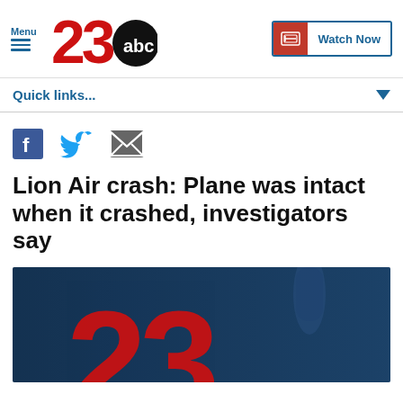Menu | 23ABC | Watch Now
Quick links...
[Figure (screenshot): Social share icons: Facebook, Twitter, Email]
Lion Air crash: Plane was intact when it crashed, investigators say
[Figure (photo): 23ABC news logo on dark blue background, partial view showing large red numbers]